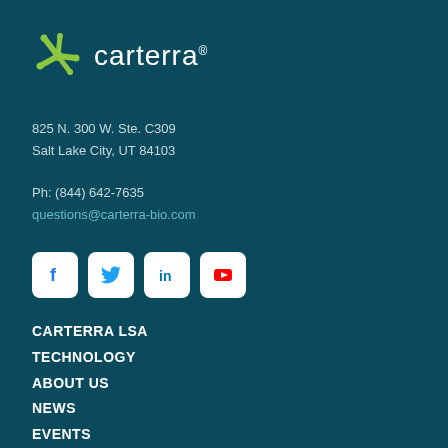[Figure (logo): Carterra logo with green star icon and white text reading 'carterra®' on dark teal background]
825 N. 300 W. Ste. C309
Salt Lake City, UT 84103
Ph: (844) 642-7635
questions@carterra-bio.com
[Figure (infographic): Social media icons: Facebook (f), Twitter (bird), LinkedIn (in), YouTube (play button) — white rounded square buttons]
CARTERRA LSA
TECHNOLOGY
ABOUT US
NEWS
EVENTS
RESOURCES
BLOG